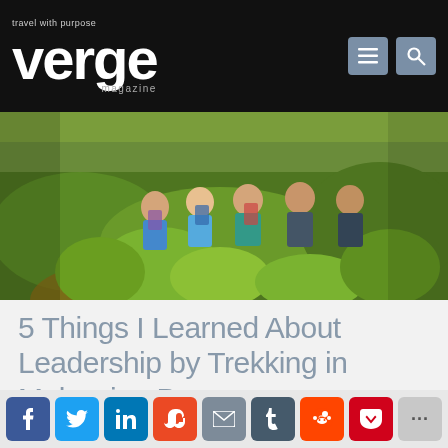travel with purpose verge magazine
[Figure (photo): Group of hikers/trekkers posing on a jungle trail in Malaysian Borneo, surrounded by dense green vegetation and lush tropical plants]
5 Things I Learned About Leadership by Trekking in Malaysian Borneo
Jeff Minthorn
Sixteen days in the jungle is a tough challenge. But what
Social share buttons: Facebook, Twitter, LinkedIn, StumbleUpon, Email, Tumblr, Reddit, Pocket, More